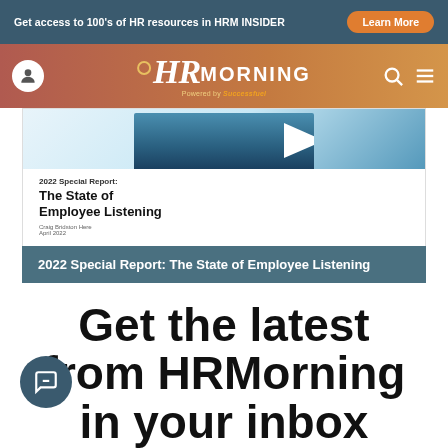Get access to 100's of HR resources in HRM INSIDER
[Figure (logo): HRMorning logo with user, search, and menu icons on gradient brown/orange navigation bar]
[Figure (screenshot): 2022 Special Report: The State of Employee Listening report cover image]
2022 Special Report: The State of Employee Listening
Get the latest from HRMorning in your inbox PLUS